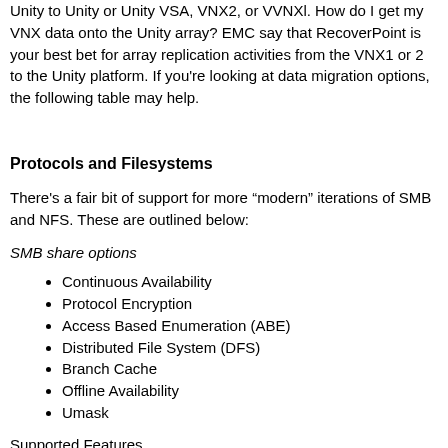Unity to Unity or Unity VSA, VNX2, or VVNXl. How do I get my VNX data onto the Unity array? EMC say that RecoverPoint is your best bet for array replication activities from the VNX1 or 2 to the Unity platform. If you're looking at data migration options, the following table may help.
Protocols and Filesystems
There's a fair bit of support for more “modern” iterations of SMB and NFS. These are outlined below:
SMB share options
Continuous Availability
Protocol Encryption
Access Based Enumeration (ABE)
Distributed File System (DFS)
Branch Cache
Offline Availability
Umask
Supported Features
Dynamic access control